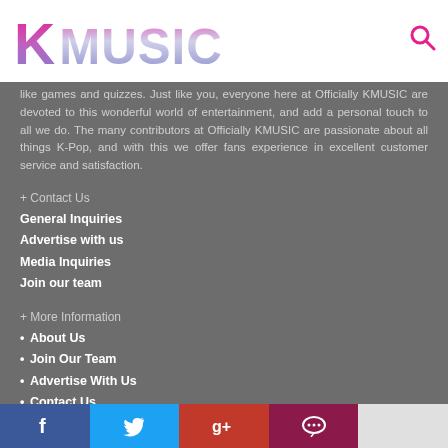KMUSIC
like games and quizzes. Just like you, everyone here at Officially KMUSIC are devoted to this wonderful world of entertainment, and add a personal touch to all we do. The many contributors at Officially KMUSIC are passionate about all things K-Pop, and with this we offer fans experience in excellent customer service and satisfaction.
+ Contact Us
General Inquiries
Advertise with us
Media Inquiries
Join our team
+ More Information
• About Us
• Join Our Team
• Advertise With Us
• Contact Us
• Disclaimer